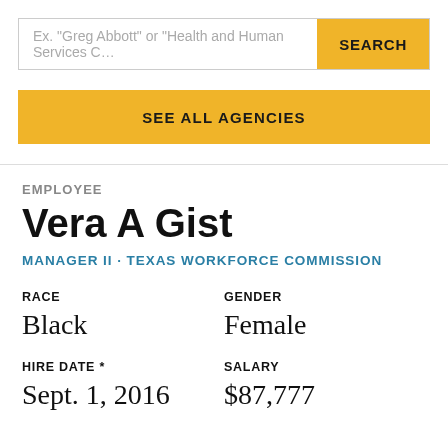Ex. "Greg Abbott" or "Health and Human Services C…
SEARCH
SEE ALL AGENCIES
EMPLOYEE
Vera A Gist
MANAGER II · TEXAS WORKFORCE COMMISSION
RACE
Black
GENDER
Female
HIRE DATE *
Sept. 1, 2016
SALARY
$87,777